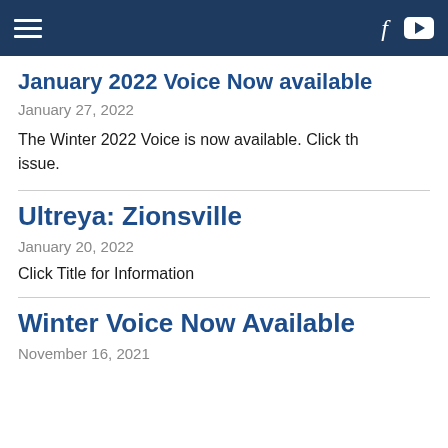Navigation bar with hamburger menu, Facebook icon, and YouTube icon
January 2022 Voice Now available
January 27, 2022
The Winter 2022 Voice is now available. Click th issue.
Ultreya: Zionsville
January 20, 2022
Click Title for Information
Winter Voice Now Available
November 16, 2021